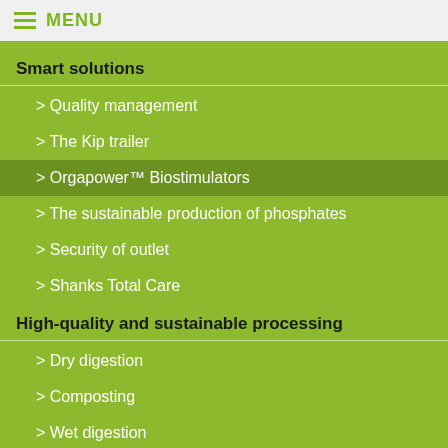MENU
Smart solutions
> Quality management
> The Kip trailer
> Orgapower™ Biostimulators
> The sustainable production of phosphates
> Security of outlet
> Shanks Total Care
High-quality and sustainable processing
> Dry digestion
> Composting
> Wet digestion
> Orgapower™ Biostimulators